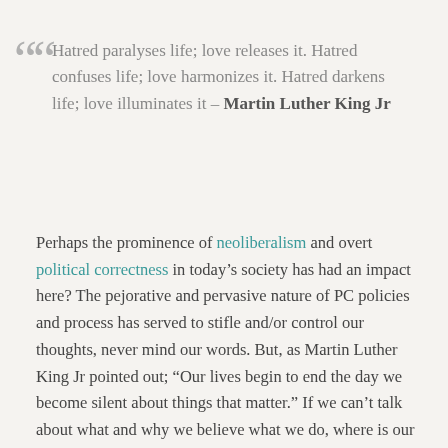Hatred paralyses life; love releases it. Hatred confuses life; love harmonizes it. Hatred darkens life; love illuminates it – Martin Luther King Jr
Perhaps the prominence of neoliberalism and overt political correctness in today's society has had an impact here? The pejorative and pervasive nature of PC policies and process has served to stifle and/or control our thoughts, never mind our words. But, as Martin Luther King Jr pointed out; “Our lives begin to end the day we become silent about things that matter.” If we can’t talk about what and why we believe what we do, where is our hope for future understanding?